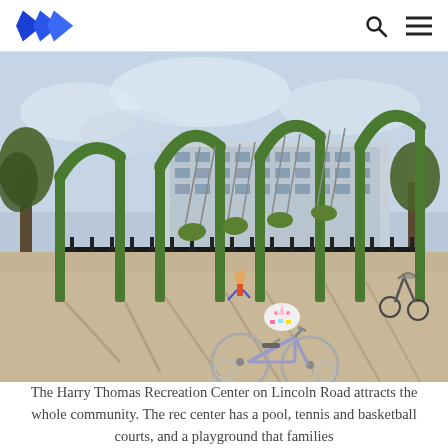[Logo] [Search icon] [Menu icon]
[Figure (photo): Playground with green swing set structures casting long shadows on sandy ground. A small child's bicycle with a unicorn helmet lies in the foreground. Trees and a large building are visible in the background behind black iron fencing.]
The Harry Thomas Recreation Center on Lincoln Road attracts the whole community. The rec center has a pool, tennis and basketball courts, and a playground that families